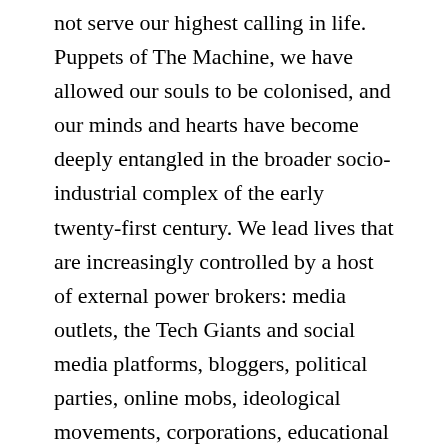not serve our highest calling in life. Puppets of The Machine, we have allowed our souls to be colonised, and our minds and hearts have become deeply entangled in the broader socio-industrial complex of the early twenty-first century. We lead lives that are increasingly controlled by a host of external power brokers: media outlets, the Tech Giants and social media platforms, bloggers, political parties, online mobs, ideological movements, corporations, educational institutions and religious groups. Our desires, our goals and even our beliefs are no longer our own. They are driven by the ITOpian Machine.
Many of us, and perhaps especially the young,